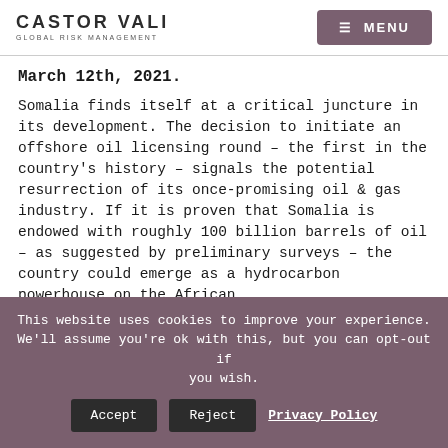CASTOR VALI GLOBAL RISK MANAGEMENT | MENU
March 12th, 2021.
Somalia finds itself at a critical juncture in its development. The decision to initiate an offshore oil licensing round – the first in the country's history – signals the potential resurrection of its once-promising oil & gas industry. If it is proven that Somalia is endowed with roughly 100 billion barrels of oil – as suggested by preliminary surveys – the country could emerge as a hydrocarbon powerhouse on the African
This website uses cookies to improve your experience. We'll assume you're ok with this, but you can opt-out if you wish. Accept Reject Privacy Policy